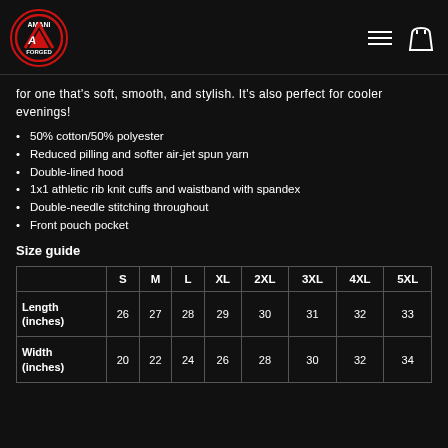[Figure (logo): Amani Forced logo: circular red border with AF letters inside on black background]
for one that's soft, smooth, and stylish. It's also perfect for cooler evenings!
50% cotton/50% polyester
Reduced pilling and softer air-jet spun yarn
Double-lined hood
1x1 athletic rib knit cuffs and waistband with spandex
Double-needle stitching throughout
Front pouch pocket
Size guide
|  | S | M | L | XL | 2XL | 3XL | 4XL | 5XL |
| --- | --- | --- | --- | --- | --- | --- | --- | --- |
| Length (inches) | 26 | 27 | 28 | 29 | 30 | 31 | 32 | 33 |
| Width (inches) | 20 | 22 | 24 | 26 | 28 | 30 | 32 | 34 |